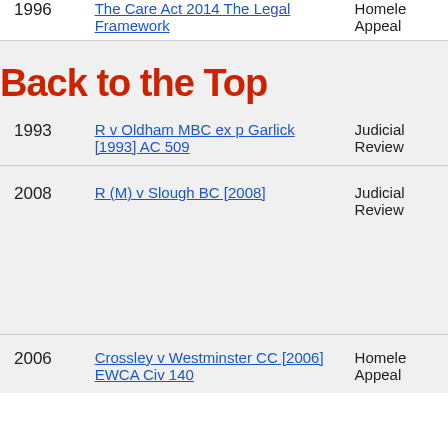| Year | Case | Type |
| --- | --- | --- |
| 1996 | The Care Act 2014 The Legal Framework | Homele Appeal |
| 1993 | R v Oldham MBC ex p Garlick [1993] AC 509 | Judicial Review |
| 2008 | R (M) v Slough BC [2008] | Judicial Review |
| 2006 | Crossley v Westminster CC [2006] EWCA Civ 140 | Homele Appeal |